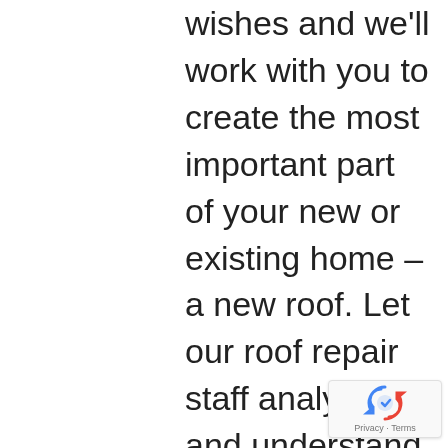wishes and we'll work with you to create the most important part of your new or existing home – a new roof. Let our roof repair staff analyze and understand your roofing system, provide advice and options and find property managers an an efficient – yet effective – solution for your current roof leaks. Our roofing experts have been in business since 2000, successfully replacing thousands of roofs of all different shapes and sizes in
[Figure (logo): Google reCAPTCHA badge with circular arrow logo and Privacy - Terms text]